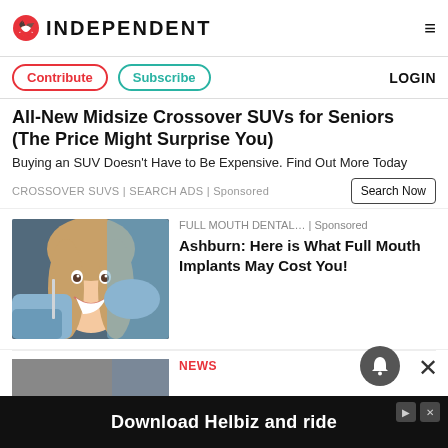INDEPENDENT
Contribute | Subscribe | LOGIN
All-New Midsize Crossover SUVs for Seniors (The Price Might Surprise You)
Buying an SUV Doesn't Have to Be Expensive. Find Out More Today
CROSSOVER SUVS | SEARCH ADS | Sponsored
[Figure (photo): Woman smiling at dentist, dental professional in blue gloves using tool near her teeth]
FULL MOUTH DENTAL... | Sponsored
Ashburn: Here is What Full Mouth Implants May Cost You!
NEWS
Download Helbiz and ride